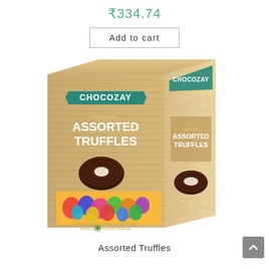₹334.74
Add to cart
[Figure (photo): Chocozay Original Assorted Truffles gift pack box with chocolate truffles visible]
Assorted Truffles